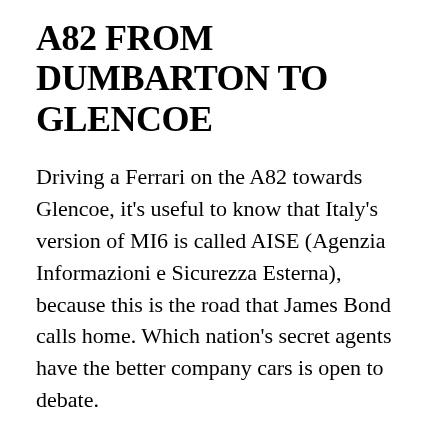A82 FROM DUMBARTON TO GLENCOE
Driving a Ferrari on the A82 towards Glencoe, it's useful to know that Italy's version of MI6 is called AISE (Agenzia Informazioni e Sicurezza Esterna), because this is the road that James Bond calls home. Which nation's secret agents have the better company cars is open to debate.
The A82 starts north west of Glasgow, drives past Dumbarton, and then burrows its way along beautiful Loch Lomond and The